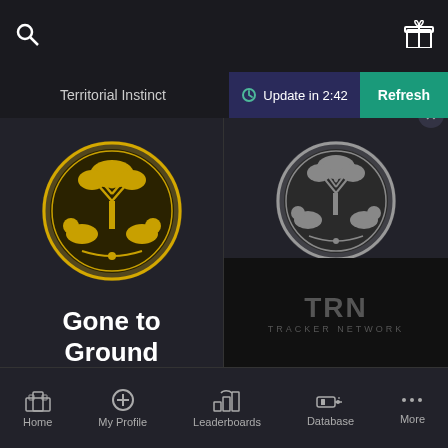Territorial Instinct | Update in 2:42 | Refresh
[Figure (illustration): Gold circular badge with tree and animal motif - Gone to Ground achievement]
Gone to Ground
0 (0.00 PGA)
Gone to Ground
[Figure (illustration): Silver circular badge with tree and animal motif - Field General achievement]
Field General
[Figure (logo): TRN Tracker Network logo overlay]
Home | My Profile | Leaderboards | Database | More